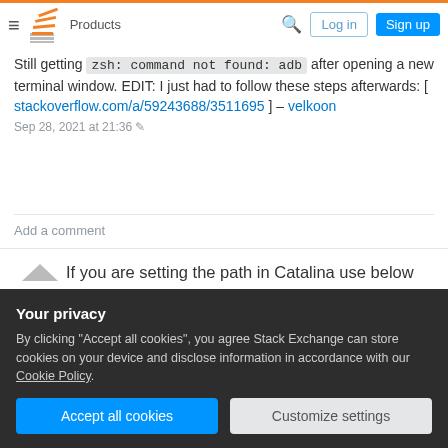Products | Log in | Sign up
Still getting zsh: command not found: adb after opening a new terminal window. EDIT: I just had to follow these steps afterwards: [ stackoverflow.com/a/59243688/3511695 ] – velkoon Sep 28, 2021 at 21:36
Add a comment
If you are setting the path in Catalina use below command one after another in the terminal. It's working fine for me.
Your privacy
By clicking "Accept all cookies", you agree Stack Exchange can store cookies on your device and disclose information in accordance with our Cookie Policy.
Accept all cookies | Customize settings